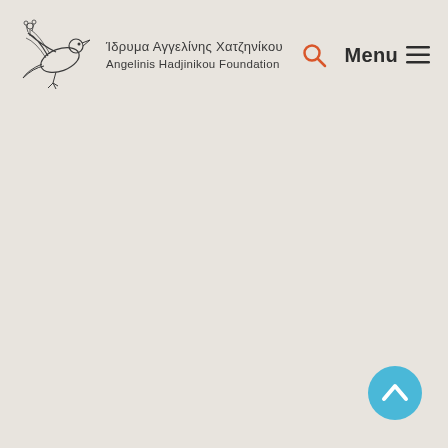Ίδρυμα Αγγελίνης Χατζηνίκου / Angelinis Hadjinikou Foundation — Menu
[Figure (logo): Angelinis Hadjinikou Foundation logo with a dove/bird illustration and Greek and English text]